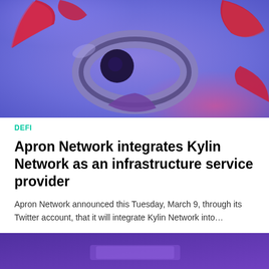[Figure (illustration): Abstract 3D floating geometric shapes including rings and curved pieces in red/crimson and purple/grey tones on a blue-purple gradient background]
DEFI
Apron Network integrates Kylin Network as an infrastructure service provider
Apron Network announced this Tuesday, March 9, through its Twitter account, that it will integrate Kylin Network into…
BY  JENNY R
[Figure (illustration): Partial view of a purple-toned image, bottom of the page, partially cut off]